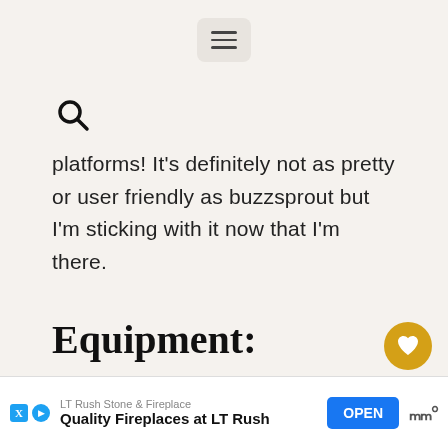[Figure (other): Hamburger menu button icon (three horizontal lines) centered at top of page]
[Figure (other): Search (magnifying glass) icon]
platforms! It's definitely not as pretty or user friendly as buzzsprout but I'm sticking with it now that I'm there.
Equipment:
Alright podcasting equipment was definitely the most confusing thing for me and I'm still learning
[Figure (other): Gold circular heart/favorite button on right side]
[Figure (other): Share icon with count badge showing '1']
LT Rush Stone & Fireplace — Quality Fireplaces at LT Rush — OPEN